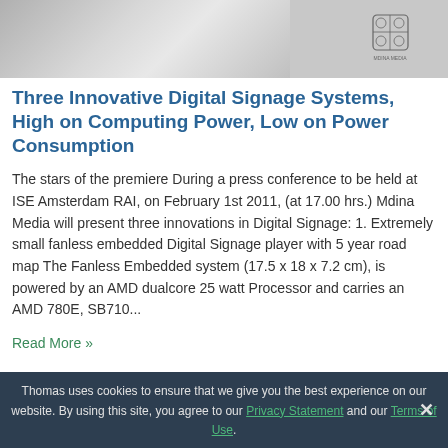[Figure (photo): Partial image of a device (dark hardware) with Mdina Media logo/crest in the upper right area]
Three Innovative Digital Signage Systems, High on Computing Power, Low on Power Consumption
The stars of the premiere During a press conference to be held at ISE Amsterdam RAI, on February 1st 2011, (at 17.00 hrs.) Mdina Media will present three innovations in Digital Signage: 1. Extremely small fanless embedded Digital Signage player with 5 year road map The Fanless Embedded system (17.5 x 18 x 7.2 cm), is powered by an AMD dualcore 25 watt Processor and carries an AMD 780E, SB710...
Read More »
Thomas uses cookies to ensure that we give you the best experience on our website. By using this site, you agree to our Privacy Statement and our Terms of Use.